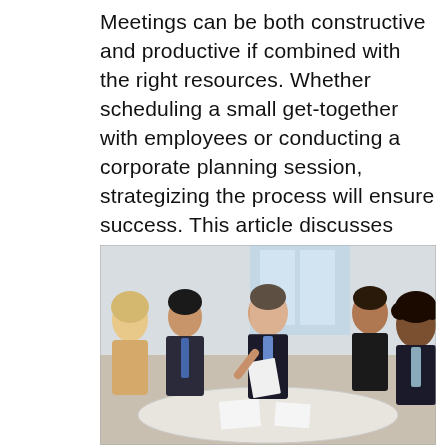Meetings can be both constructive and productive if combined with the right resources. Whether scheduling a small get-together with employees or conducting a corporate planning session, strategizing the process will ensure success. This article discusses effective strategies for conducting constructive meetings that produce results.
[Figure (photo): Five business professionals in formal attire seated around a white conference table in a bright office, engaged in a meeting discussion. A man in the center holds papers and gestures while speaking to the others.]